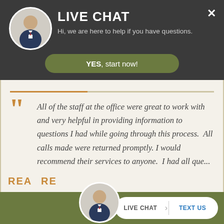LIVE CHAT
Hi, we are here to help if you have questions.
YES, start now!
All of the staff at the office were great to work with and very helpful in providing information to questions I had while going through this process.  All calls made were returned promptly. I would recommend their services to anyone.  I had all que...
READ MORE
LIVE CHAT  TEXT US